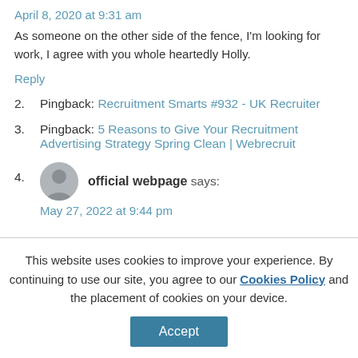April 8, 2020 at 9:31 am
As someone on the other side of the fence, I'm looking for work, I agree with you whole heartedly Holly.
Reply
2. Pingback: Recruitment Smarts #932 - UK Recruiter
3. Pingback: 5 Reasons to Give Your Recruitment Advertising Strategy Spring Clean | Webrecruit
4. official webpage says: May 27, 2022 at 9:44 pm
This website uses cookies to improve your experience. By continuing to use our site, you agree to our Cookies Policy and the placement of cookies on your device.
Accept